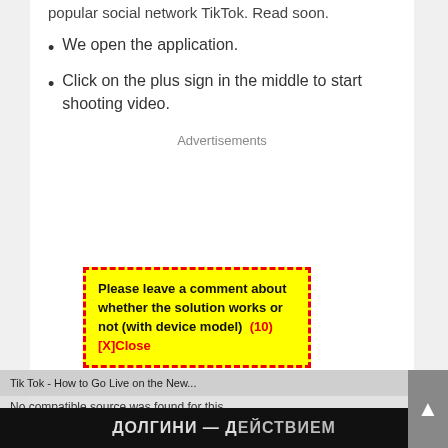popular social network TikTok. Read soon.
We open the application.
Click on the plus sign in the middle to start shooting video.
Advertisements
[Figure (infographic): Yellow box with red dashed border containing bold text: 'Please leave a comment about whether the solution works or not (with device model)' followed by red text '(10) [X]Close']
[Figure (screenshot): Video player screenshot showing 'Tik Tok - How to Go Live on the New...' with message 'No compatible source was found for this' and a HOW TO video thumbnail with Cyrillic text overlay and scroll button]